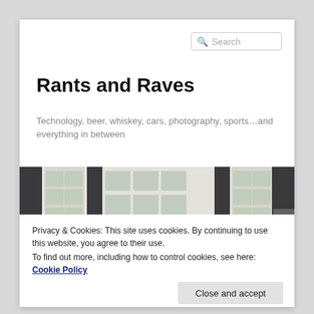Search
Rants and Raves
Technology, beer, whiskey, cars, photography, sports…and everything in between
[Figure (photo): A red Porsche Boxster convertible parked in front of a white house with dark shutters and windows]
Privacy & Cookies: This site uses cookies. By continuing to use this website, you agree to their use.
To find out more, including how to control cookies, see here: Cookie Policy
Close and accept